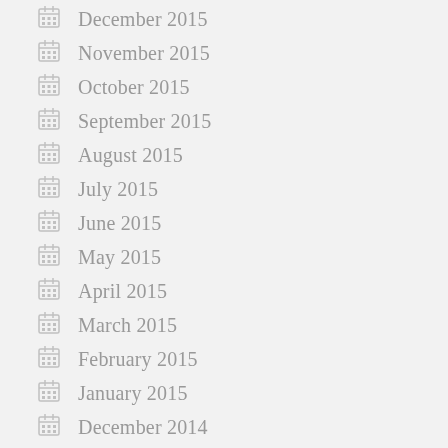December 2015
November 2015
October 2015
September 2015
August 2015
July 2015
June 2015
May 2015
April 2015
March 2015
February 2015
January 2015
December 2014
October 2014